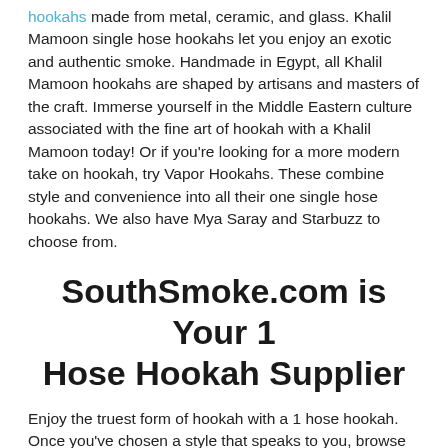hookahs made from metal, ceramic, and glass. Khalil Mamoon single hose hookahs let you enjoy an exotic and authentic smoke. Handmade in Egypt, all Khalil Mamoon hookahs are shaped by artisans and masters of the craft. Immerse yourself in the Middle Eastern culture associated with the fine art of hookah with a Khalil Mamoon today! Or if you're looking for a more modern take on hookah, try Vapor Hookahs. These combine style and convenience into all their one single hose hookahs. We also have Mya Saray and Starbuzz to choose from.
SouthSmoke.com is Your 1 Hose Hookah Supplier
Enjoy the truest form of hookah with a 1 hose hookah. Once you've chosen a style that speaks to you, browse the many hookah accessories at SouthSmoke.com. Then enjoy and create your own traditions with your new 1 hose hookah! If you are looking to invite more friends to share in the pleasure of smoking your one hose hookah, or you don't want to wait to take turns, many one hose hookahs transform easily into multi-hose hookahs. This feature is a modern convenience that saves